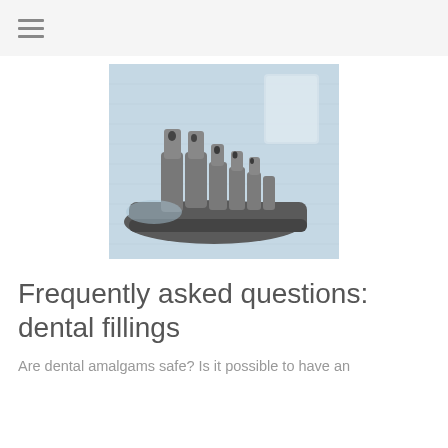[Figure (photo): A dental model showing a row of teeth on a gray articulator base, placed on a light blue textured cloth background. The model shows gray/silver dental crowns or amalgam fillings on the teeth.]
Frequently asked questions: dental fillings
Are dental amalgams safe? Is it possible to have an